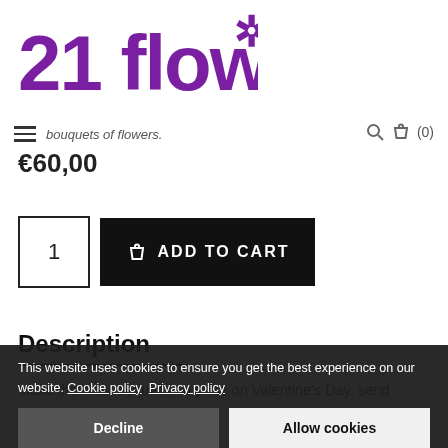[Figure (logo): 21 flowers logo with asterisk/snowflake icon in purple]
bouquets of flowers.
€60,00
[Figure (other): Quantity input box showing 1 and Add to Cart button in black]
Description
Make the most beautiful surprise on Valentine's Day, send
This website uses cookies to ensure you get the best experience on our website. Cookie policy  Privacy policy
Decline
Allow cookies